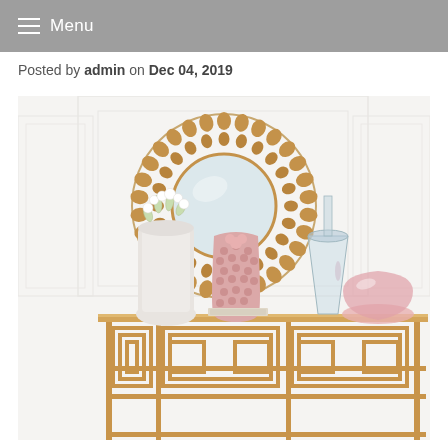Menu
Posted by admin on Dec 04, 2019
[Figure (photo): Interior décor scene showing a round gold sunburst/beaded mirror on a white paneled wall, above a gold geometric metal console table. On the table are decorative items: a white vase with small white flowers, a pink textured vase, and glass/pink decorative objects including what appears to be a perfume bottle and a pink glass bowl.]